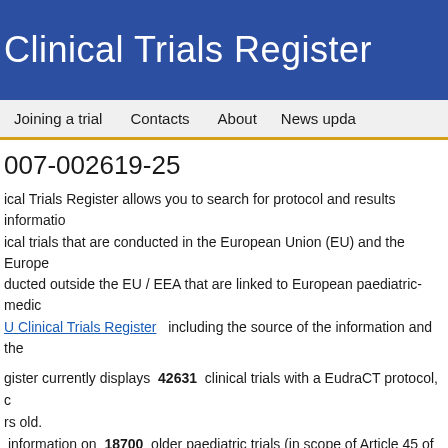Clinical Trials Register
Joining a trial   Contacts   About   News updates
007-002619-25
ical Trials Register allows you to search for protocol and results information on clinical trials that are conducted in the European Union (EU) and the European Economic Area (EEA), as well as trials conducted outside the EU / EEA that are linked to European paediatric-medicine development. The EU Clinical Trials Register including the source of the information and the
gister currently displays 42631 clinical trials with a EudraCT protocol, older than 18 years old. It also provides information on 18700 older paediatric trials (in scope of Article 45 of the Paediatric Regulation).
Trials which are conducted solely in adults and that are not part of an agreed PIP are not public in this register. For more information see Commission Guideline 2012/C 302/03, Art. 5) .
Trials which are marked as "Trial now transitioned" were transitioned to the Clinical Trial Regulation 5